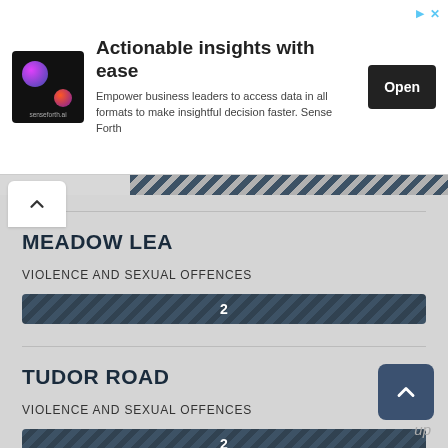[Figure (screenshot): Advertisement banner for senseforth.ai with logo, title 'Actionable insights with ease', description text, and Open button]
MEADOW LEA
VIOLENCE AND SEXUAL OFFENCES
[Figure (bar-chart): MEADOW LEA crime bar]
TUDOR ROAD
VIOLENCE AND SEXUAL OFFENCES
[Figure (bar-chart): TUDOR ROAD crime bar]